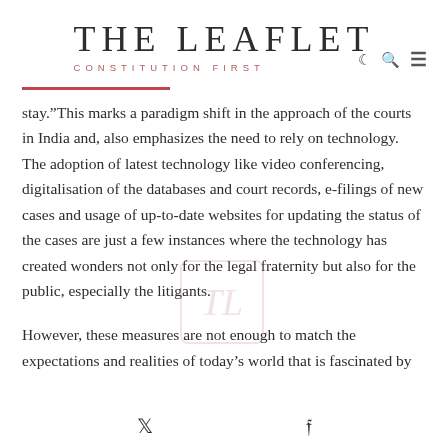THE LEAFLET — CONSTITUTION FIRST
stay.”This marks a paradigm shift in the approach of the courts in India and, also emphasizes the need to rely on technology. The adoption of latest technology like video conferencing, digitalisation of the databases and court records, e-filings of new cases and usage of up-to-date websites for updating the status of the cases are just a few instances where the technology has created wonders not only for the legal fraternity but also for the public, especially the litigants.
However, these measures are not enough to match the expectations and realities of today’s world that is fascinated by
✓ f